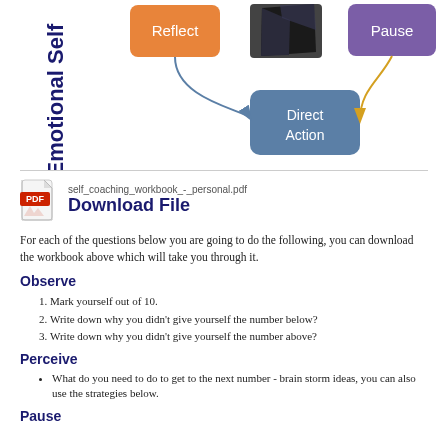[Figure (flowchart): Emotional Self diagram showing colored boxes: 'Reflect' (orange), a dark book/folder image, 'Pause' (purple), 'Direct Action' (steel blue), with arrows connecting them. Vertical text on left reads 'Emotional Self'.]
self_coaching_workbook_-_personal.pdf
Download File
For each of the questions below you are going to do the following, you can download the workbook above which will take you through it.
Observe
Mark yourself out of 10.
Write down why you didn't give yourself the number below?
Write down why you didn't give yourself the number above?
Perceive
What do you need to do to get to the next number - brain storm ideas, you can also use the strategies below.
Pause